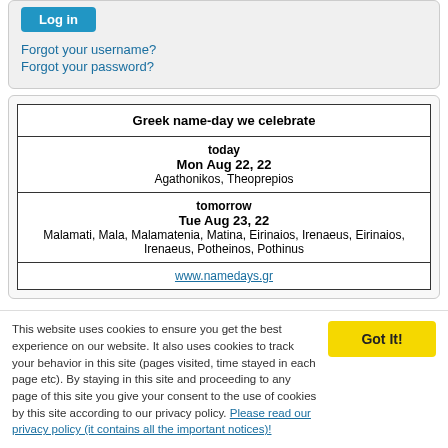Log in
Forgot your username?
Forgot your password?
| Greek name-day we celebrate |
| --- |
| today
Mon Aug 22, 22
Agathonikos, Theoprepios |
| tomorrow
Tue Aug 23, 22
Malamati, Mala, Malamatenia, Matina, Eirinaios, Irenaeus, Eirinaios, Irenaeus, Potheinos, Pothinus |
| www.namedays.gr |
This website uses cookies to ensure you get the best experience on our website. It also uses cookies to track your behavior in this site (pages visited, time stayed in each page etc). By staying in this site and proceeding to any page of this site you give your consent to the use of cookies by this site according to our privacy policy. Please read our privacy policy (it contains all the important notices)!